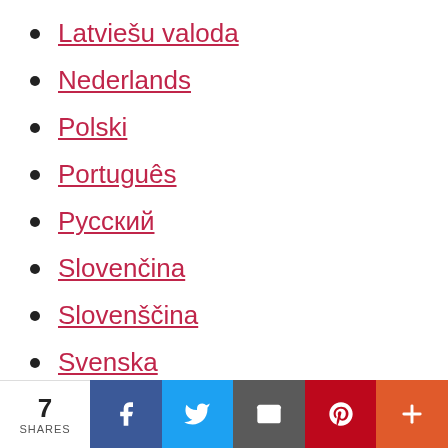Latviešu valoda
Nederlands
Polski
Português
Русский
Slovenčina
Slovenščina
Svenska
Tü...